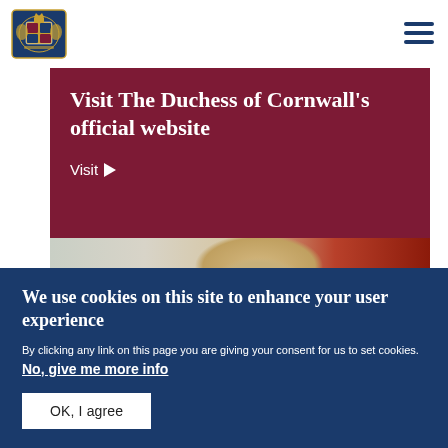[Figure (logo): Royal coat of arms logo in blue/gold]
Visit The Duchess of Cornwall's official website
Visit ▶
[Figure (photo): Smiling woman with short blonde hair in front of red curtain]
We use cookies on this site to enhance your user experience
By clicking any link on this page you are giving your consent for us to set cookies. No, give me more info
OK, I agree